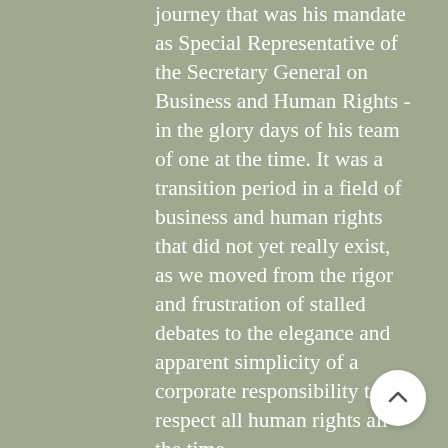journey that was his mandate as Special Representative of the Secretary General on Business and Human Rights - in the glory days of his team of one at the time. It was a transition period in a field of business and human rights that did not yet really exist, as we moved from the rigor and frustration of stalled debates to the elegance and apparent simplicity of a corporate responsibility to respect all human rights all the time.
The adoption of the UN Guiding Principles on Business and Human Rights marked the end of the mandate and only the beginning of the end of curbing corporate abuses, but these Principles have since concretely touched the lives of many people, which was John's overarching objective. They are maybe also one of the best examples of John's most striking quality: to articulate compelling and sometimes truly revolutionary